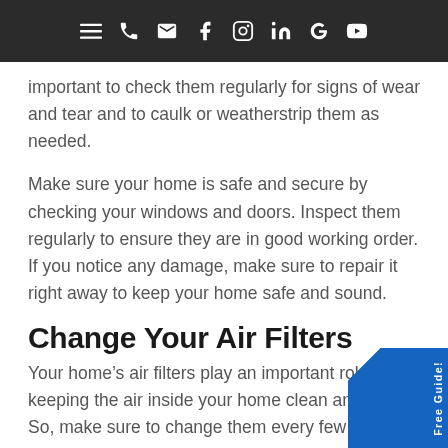Navigation bar with icons: menu, phone, email, Facebook, Instagram, LinkedIn, Google, YouTube
important to check them regularly for signs of wear and tear and to caulk or weatherstrip them as needed.
Make sure your home is safe and secure by checking your windows and doors. Inspect them regularly to ensure they are in good working order. If you notice any damage, make sure to repair it right away to keep your home safe and sound.
Change Your Air Filters
Your home's air filters play an important role in keeping the air inside your home clean and fr... So, make sure to change them every few m...